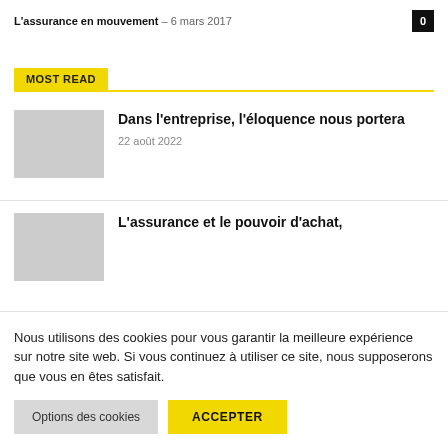L'assurance en mouvement – 6 mars 2017
MOST READ
Dans l'entreprise, l'éloquence nous portera
22 août 2022
L'assurance et le pouvoir d'achat,
Nous utilisons des cookies pour vous garantir la meilleure expérience sur notre site web. Si vous continuez à utiliser ce site, nous supposerons que vous en êtes satisfait.